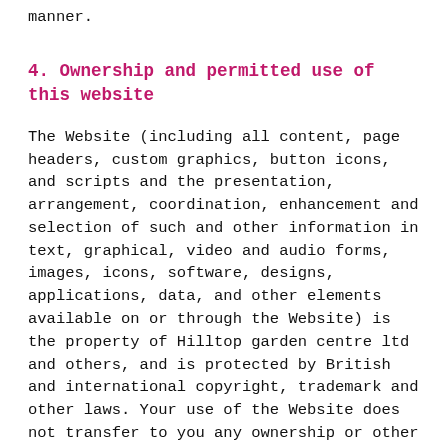manner.
4. Ownership and permitted use of this website
The Website (including all content, page headers, custom graphics, button icons, and scripts and the presentation, arrangement, coordination, enhancement and selection of such and other information in text, graphical, video and audio forms, images, icons, software, designs, applications, data, and other elements available on or through the Website) is the property of Hilltop garden centre ltd and others, and is protected by British and international copyright, trademark and other laws. Your use of the Website does not transfer to you any ownership or other rights in the Website or its content. The Website is made available to you for your lawful, personal use only. You may use the Website only in the manner described expressly in this Agreement and subject to all applicable laws. Using the Website for any other purpose or in any other manner is strictly prohibited. You may print Website pages provided that you do not modify any of the